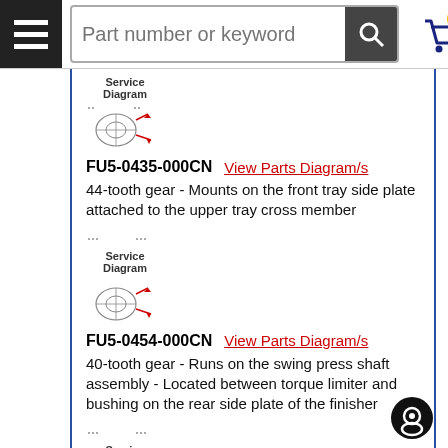Part number or keyword [search bar]
[Figure (schematic): Service Diagram thumbnail for FU5-0435-000CN]
FU5-0435-000CN   View Parts Diagram/s
44-tooth gear - Mounts on the front tray side plate attached to the upper tray cross member
[Figure (schematic): Service Diagram thumbnail for FU5-0454-000CN]
FU5-0454-000CN   View Parts Diagram/s
40-tooth gear - Runs on the swing press shaft assembly - Located between torque limiter and bushing on the rear side plate of the finisher
[Figure (schematic): Service Diagram thumbnail for FU5-0457-000CN]
FU5-0457-000CN   View Parts Diagram/s
17-tooth gear - Attaches to the rear tray side plate